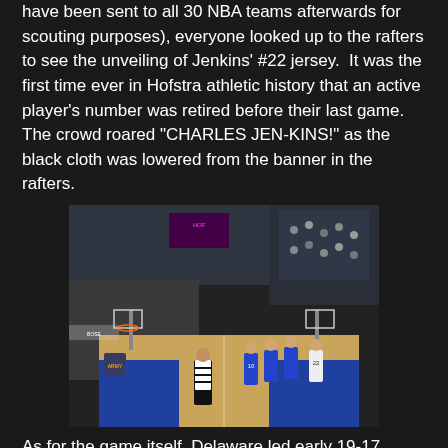have been sent to all 30 NBA teams afterwards for scouting purposes), everyone looked up to the rafters to see the unveiling of Jenkins' #22 jersey.  It was the first time ever in Hofstra athletic history that an active player's number was retired before their last game.  The crowd roared "CHARLES JEN-KINS!" as the black cloth was lowered from the banner in the rafters.
[Figure (photo): A basketball game in progress at Hofstra arena. The court is visible with players in blue and white uniforms. A referee in a striped shirt is visible in the foreground. The arena is packed with spectators. The court has a blue and gold color scheme.]
As for the game itself, Delaware led early 19-17 before Shemiye McLendon sparked a 12-2 run and Hofstra went up 33-26 at the half.  Hofstra had already known that they clinched at least third place when it was announced over the